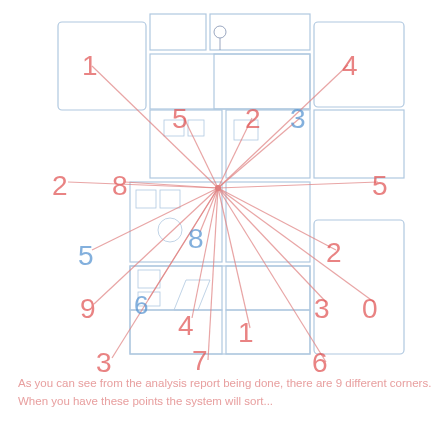[Figure (schematic): Floor plan schematic of a multi-room building with numbered rooms/zones (1-9) labeled in red and blue. Red lines radiate from a central point to various numbered labels positioned around and within the floor plan, indicating zone or room assignments. The floor plan shows walls, doors, and room layouts in light blue/gray lines.]
As you can see from the analysis report being done, there are 9 different corners. When you have these points the system will sort...